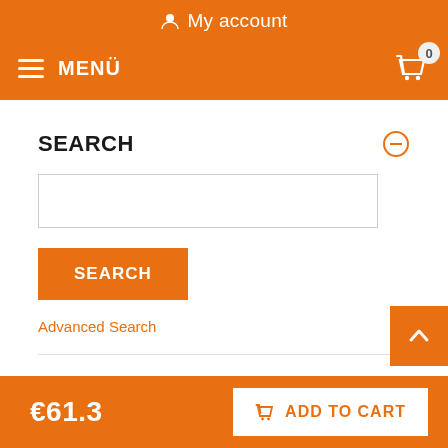My account
MENÜ
SEARCH
SEARCH (button)
Advanced Search
BESTSELLERS
€61.3
ADD TO CART